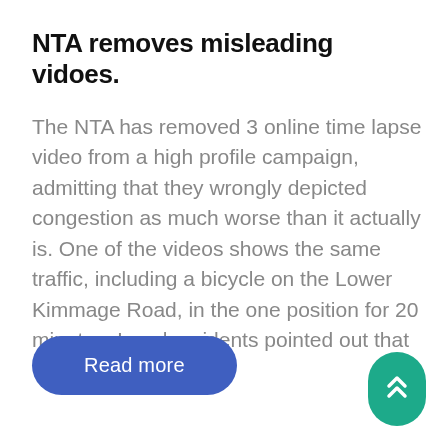NTA removes misleading vidoes.
The NTA has removed 3 online time lapse video from a high profile campaign, admitting that they wrongly depicted congestion as much worse than it actually is. One of the videos shows the same traffic, including a bicycle on the Lower Kimmage Road, in the one position for 20 minutes. Local residents pointed out that
[Figure (other): Blue rounded rectangle button with white text 'Read more']
[Figure (other): Teal rounded rectangle scroll-to-top button with white double chevron arrow icon]